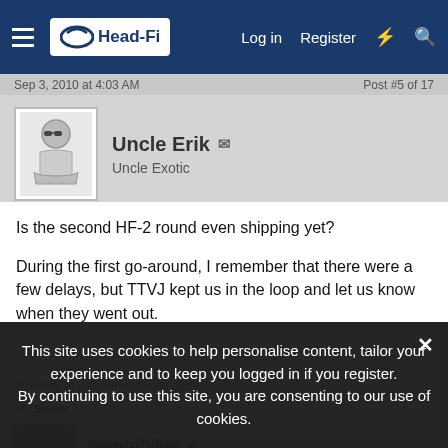Head-Fi | Log in | Register
Sep 3, 2010 at 4:03 AM | Post #5 of 17
Uncle Erik  Uncle Exotic
Is the second HF-2 round even shipping yet?
During the first go-around, I remember that there were a few delays, but TTVJ kept us in the loop and let us know when they went out.
Nothing to see here. Move along.
Share
swmtnbiker
This site uses cookies to help personalise content, tailor your experience and to keep you logged in if you register. By continuing to use this site, you are consenting to our use of cookies.